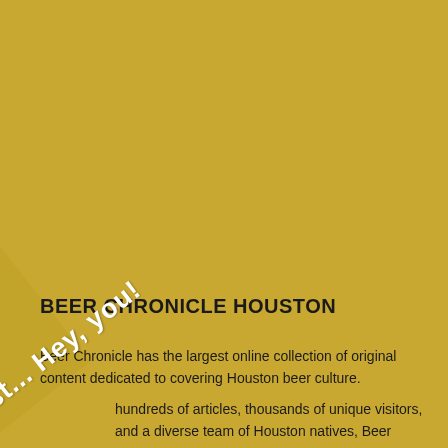BEER CHRONICLE HOUSTON
Beer Chronicle has the largest online collection of original content dedicated to covering Houston beer culture.
hundreds of articles, thousands of unique visitors, and a diverse team of Houston natives, Beer Chronicle is paving the way to enabling growth, engaging a broader consumer base, and sharing
Psst... Hey, you!